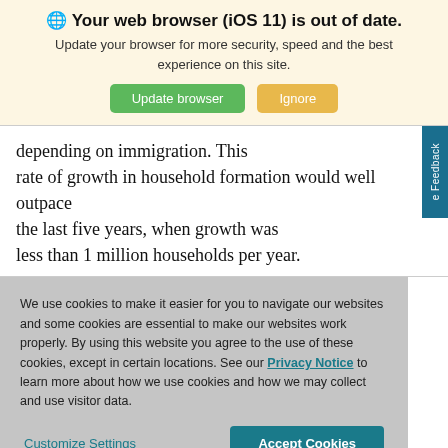🌐 Your web browser (iOS 11) is out of date.
Update your browser for more security, speed and the best experience on this site.
depending on immigration. This rate of growth in household formation would well outpace the last five years, when growth was less than 1 million households per year.
We use cookies to make it easier for you to navigate our websites and some cookies are essential to make our websites work properly. By using this website you agree to the use of these cookies, except in certain locations. See our Privacy Notice to learn more about how we use cookies and how we may collect and use visitor data.